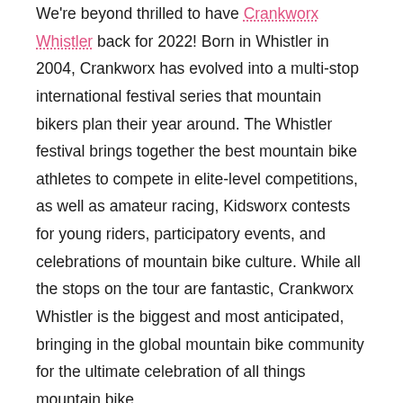We're beyond thrilled to have Crankworx Whistler back for 2022! Born in Whistler in 2004, Crankworx has evolved into a multi-stop international festival series that mountain bikers plan their year around. The Whistler festival brings together the best mountain bike athletes to compete in elite-level competitions, as well as amateur racing, Kidsworx contests for young riders, participatory events, and celebrations of mountain bike culture. While all the stops on the tour are fantastic, Crankworx Whistler is the biggest and most anticipated, bringing in the global mountain bike community for the ultimate celebration of all things mountain bike.
If you want to stay in the heart of it all and never miss a beat of the festival, we highly recommend staying in Village Gate House. You'll be steps away from the excitement of the festival, Whistler Mountain Bike Park, and all the post-race parties and activities. All of our bright and spacious one